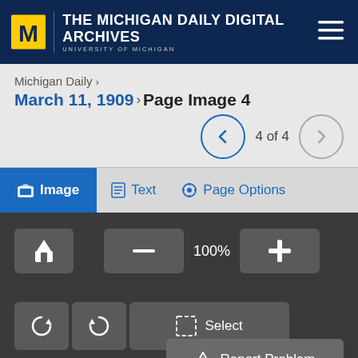THE MICHIGAN DAILY DIGITAL ARCHIVES UNIVERSITY OF MICHIGAN
Michigan Daily ›
March 11, 1909 › Page Image 4
4 of 4
Image   Text   Page Options
100%
Select
Report Problem